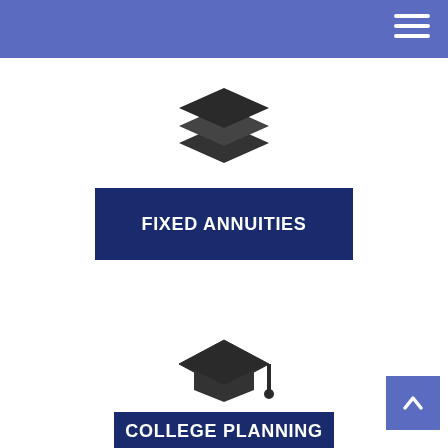[Figure (illustration): Stacked layers icon (dark gray), representing fixed annuities product category]
FIXED ANNUITIES
[Figure (illustration): Graduation cap icon (dark gray), representing college planning product category]
COLLEGE PLANNING